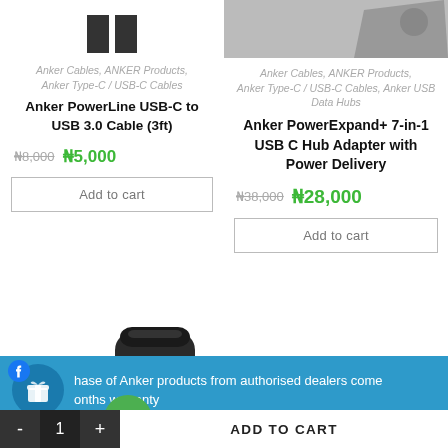[Figure (photo): Product image top area for Anker PowerLine USB-C to USB 3.0 Cable (3ft) - partial view of cable connectors]
Anker Cables, ANKER Products, Anker Type-C / USB-C Cables
Anker PowerLine USB-C to USB 3.0 Cable (3ft)
₦8,000 ₦5,000
Add to cart
[Figure (photo): Product image top area for Anker PowerExpand+ 7-in-1 USB C Hub Adapter with Power Delivery - partial view]
Anker Cables, ANKER Products, Anker Type-C / USB-C Cables, Anker USB Data Hubs
Anker PowerExpand+ 7-in-1 USB C Hub Adapter with Power Delivery
₦38,000 ₦28,000
Add to cart
[Figure (photo): Anker portable projector/device - black cylindrical device with blue light, partially visible with green discount badge showing '90%']
hase of Anker products from authorised dealers come onths warranty
- 1 + ADD TO CART